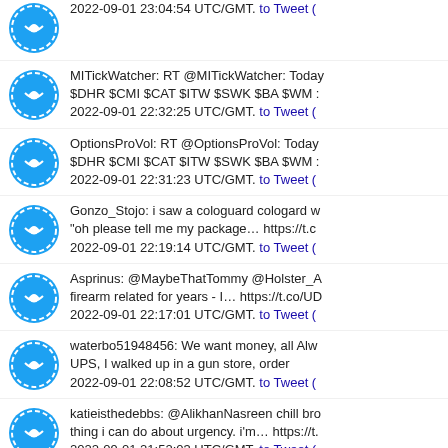2022-09-01 23:04:54 UTC/GMT. to Tweet (
MITickWatcher: RT @MITickWatcher: Today $DHR $CMI $CAT $ITW $SWK $BA $WM 2022-09-01 22:32:25 UTC/GMT. to Tweet (
OptionsProVol: RT @OptionsProVol: Today $DHR $CMI $CAT $ITW $SWK $BA $WM 2022-09-01 22:31:23 UTC/GMT. to Tweet (
Gonzo_Stojo: i saw a cologuard cologard w "oh please tell me my package... https://t.c 2022-09-01 22:19:14 UTC/GMT. to Tweet (
Asprinus: @MaybeThatTommy @Holster_A firearm related for years - I... https://t.co/UD 2022-09-01 22:17:01 UTC/GMT. to Tweet (
waterbo51948456: We want money, all Alw UPS, I walked up in a gun store, order 2022-09-01 22:08:52 UTC/GMT. to Tweet (
katieisthedebbs: @AlikhanNasreen chill bro thing i can do about urgency. i'm... https://t. 2022-09-01 21:52:03 UTC/GMT. to Tweet (